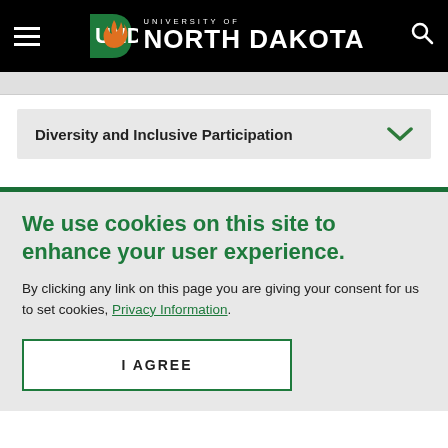University of North Dakota
Diversity and Inclusive Participation
We use cookies on this site to enhance your user experience.
By clicking any link on this page you are giving your consent for us to set cookies, Privacy Information.
I AGREE